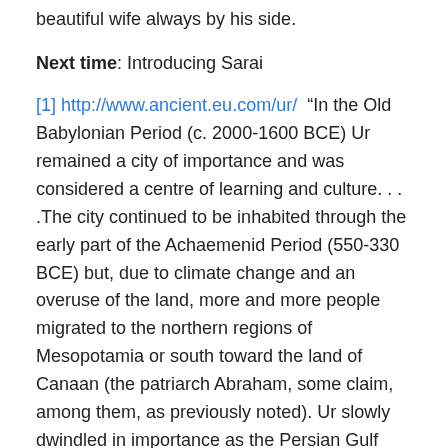beautiful wife always by his side.
Next time: Introducing Sarai
[1] http://www.ancient.eu.com/ur/  “In the Old Babylonian Period (c. 2000-1600 BCE) Ur remained a city of importance and was considered a centre of learning and culture. . . .The city continued to be inhabited through the early part of the Achaemenid Period (550-330 BCE) but, due to climate change and an overuse of the land, more and more people migrated to the northern regions of Mesopotamia or south toward the land of Canaan (the patriarch Abraham, some claim, among them, as previously noted). Ur slowly dwindled in importance as the Persian Gulf receded further and further south from the city and eventually fell into ruin around 450 BCE.”
[2] Great People of the Bible and How They Lived,